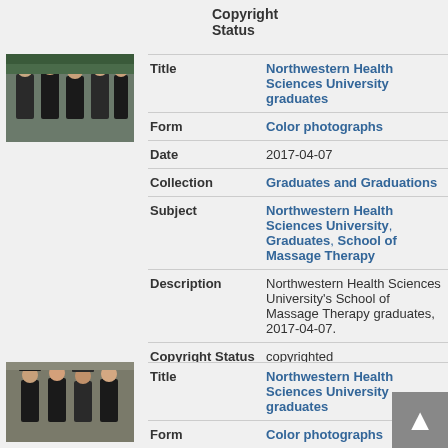Copyright Status
[Figure (photo): Thumbnail photo of Northwestern Health Sciences University graduates in academic regalia outdoors]
| Field | Value |
| --- | --- |
| Title | Northwestern Health Sciences University graduates |
| Form | Color photographs |
| Date | 2017-04-07 |
| Collection | Graduates and Graduations |
| Subject | Northwestern Health Sciences University, Graduates, School of Massage Therapy |
| Description | Northwestern Health Sciences University's School of Massage Therapy graduates, 2017-04-07. |
| Copyright Status | copyrighted |
[Figure (photo): Thumbnail photo of Northwestern Health Sciences University graduates in academic regalia]
| Field | Value |
| --- | --- |
| Title | Northwestern Health Sciences University graduates |
| Form | Color photographs |